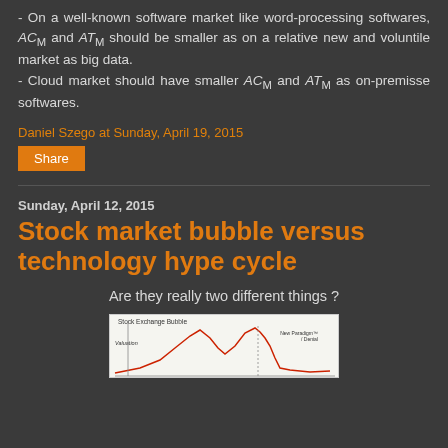- On a well-known software market like word-processing softwares, ACM and ATM should be smaller as on a relative new and voluntile market as big data.
- Cloud market should have smaller ACM and ATM as on-premisse softwares.
Daniel Szego at Sunday, April 19, 2015
Share
Sunday, April 12, 2015
Stock market bubble versus technology hype cycle
Are they really two different things ?
[Figure (other): Partial chart image showing 'Stock Exchange Bubble' with axes labeled Valuation and New Paradigm / Denial]